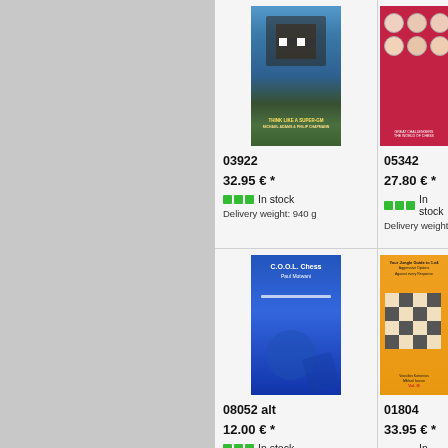[Figure (photo): Book cover: Think Like a Super-GM, with a person at a chess board]
03922
32.95 € *
In stock
Delivery weight: 940 g
[Figure (photo): Book cover: pink/red cover with portrait photos of chess players]
05342
27.80 € *
In stock
Delivery weight: 600 g
[Figure (photo): Book cover: C.O.O.L. Chess by Paul Motwani, blue cover]
08052 alt
12.00 € *
In stock
Delivery weight: 250 g
[Figure (photo): Book cover: Your Jungle Guide to 1.e4, orange cover with chess board, by Nisipoiu/Marin, Vol. III]
01804
33.95 € *
In stock
Delivery weight: 880 g